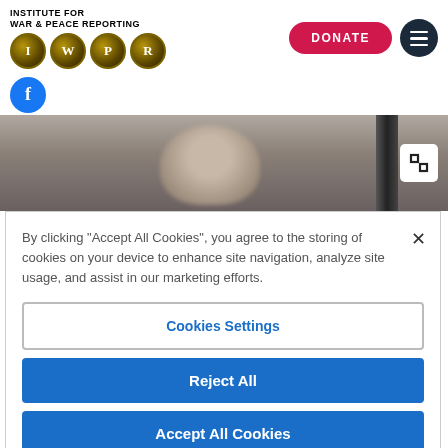[Figure (logo): Institute for War & Peace Reporting logo with IWPR letter circles in gold/black and text header]
[Figure (screenshot): Donate button (red pill shape) and hamburger menu button (dark navy circle)]
[Figure (photo): Partial photo of an elderly man with grey hair, blurred, with an expand/fullscreen icon button overlaid]
By clicking "Accept All Cookies", you agree to the storing of cookies on your device to enhance site navigation, analyze site usage, and assist in our marketing efforts.
Cookies Settings
Reject All
Accept All Cookies